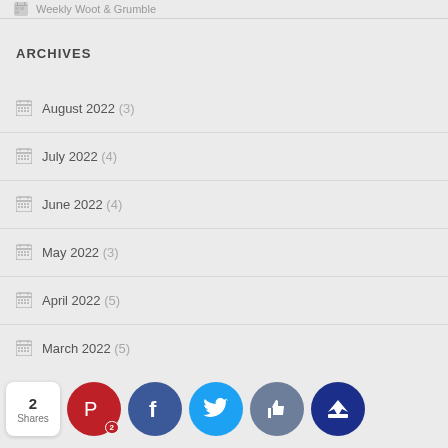Weekly Woot & Grumble
ARCHIVES
August 2022 (3)
July 2022 (4)
June 2022 (4)
May 2022 (3)
April 2022 (5)
March 2022 (5)
February 2022 (3)
January 2022 (4)